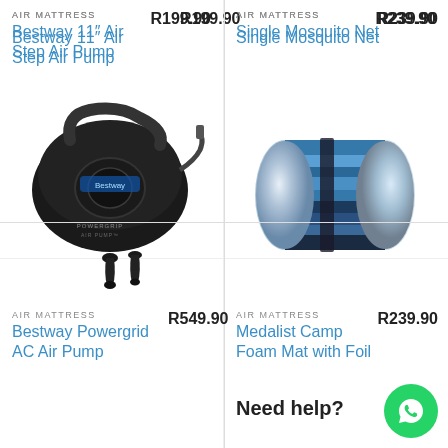AIR MATTRESS
R199.90
Bestway 11″ Air Step Air Pump
[Figure (photo): Bestway Powergrid air pump black electric device with two nozzle attachments]
AIR MATTRESS
R239.90
Single Mosquito Net
[Figure (photo): Rolled foam camping mat with blue and silver foil surface]
AIR MATTRESS
R549.90
Bestway Powergrid AC Air Pump
AIR MATTRESS
R239.90
Medalist Camp Foam Mat with Foil
Need help?